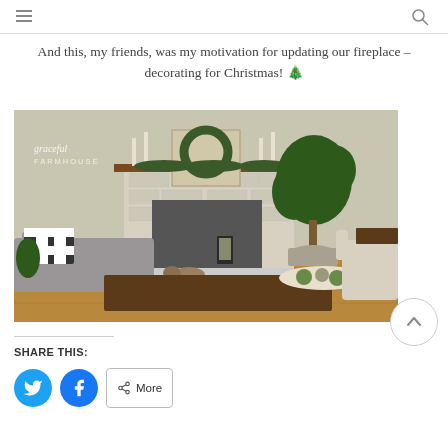And this, my friends, was my motivation for updating our fireplace – decorating for Christmas! 🎄
[Figure (photo): Living room with a Christmas-decorated fireplace mantel featuring a wreath, candles, and greenery. A large fiddle-leaf fig tree stands to the right. A gray chaise lounge with a buffalo check pillow is in the foreground, and a dark wood coffee table holds a decorative tray. Watermark reads 'graceful FARMHOUSE'.]
SHARE THIS:
Twitter share button
Facebook share button
More